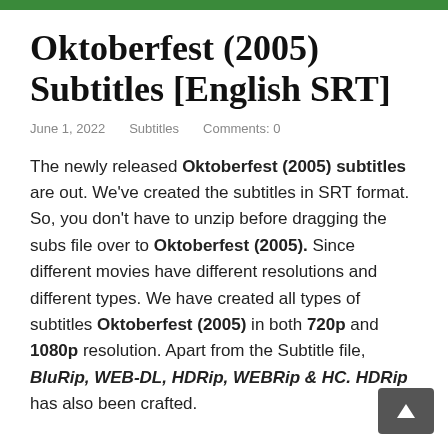Oktoberfest (2005) Subtitles [English SRT]
June 1, 2022    Subtitles    Comments: 0
The newly released Oktoberfest (2005) subtitles are out. We've created the subtitles in SRT format. So, you don't have to unzip before dragging the subs file over to Oktoberfest (2005). Since different movies have different resolutions and different types. We have created all types of subtitles Oktoberfest (2005) in both 720p and 1080p resolution. Apart from the Subtitle file, BluRip, WEB-DL, HDRip, WEBRip & HC. HDRip has also been crafted.